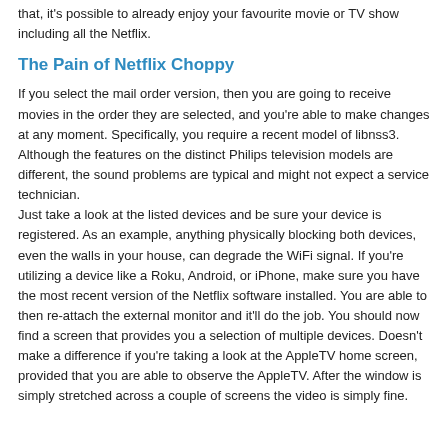that, it's possible to already enjoy your favourite movie or TV show including all the Netflix.
The Pain of Netflix Choppy
If you select the mail order version, then you are going to receive movies in the order they are selected, and you're able to make changes at any moment. Specifically, you require a recent model of libnss3. Although the features on the distinct Philips television models are different, the sound problems are typical and might not expect a service technician.
Just take a look at the listed devices and be sure your device is registered. As an example, anything physically blocking both devices, even the walls in your house, can degrade the WiFi signal. If you're utilizing a device like a Roku, Android, or iPhone, make sure you have the most recent version of the Netflix software installed. You are able to then re-attach the external monitor and it'll do the job. You should now find a screen that provides you a selection of multiple devices. Doesn't make a difference if you're taking a look at the AppleTV home screen, provided that you are able to observe the AppleTV. After the window is simply stretched across a couple of screens the video is simply fine.